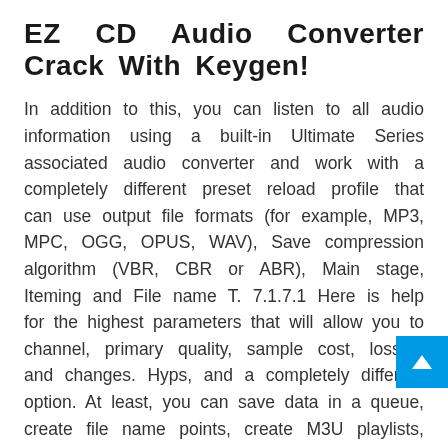EZ CD Audio Converter Crack With Keygen!
In addition to this, you can listen to all audio information using a built-in Ultimate Series associated audio converter and work with a completely different preset reload profile that can use output file formats (for example, MP3, MPC, OGG, OPUS, WAV), Save compression algorithm (VBR, CBR or ABR), Main stage, Iteming and File name T. 7.1.7.1 Here is help for the highest parameters that will allow you to channel, primary quality, sample cost, losses, and changes. Hyps, and a completely different option. At least, you can save data in a queue, create file name points, create M3U playlists, save repository records, calculate refund metadata, and can also organize.